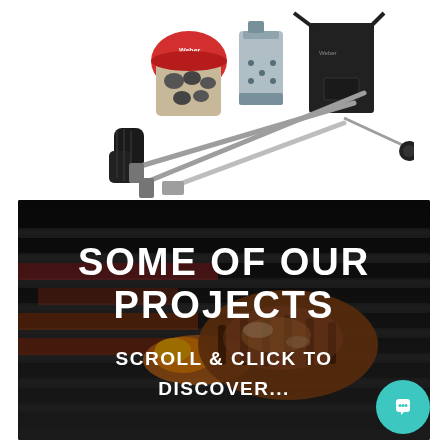[Figure (photo): BBQ/grilling accessories product photo: Weber-branded charcoal bag, chimney starter, black apron, grilling mitt, tongs, spatula, thermometer on white background]
[Figure (photo): Dark photo of steak grilling on a BBQ grate with glowing embers, overlaid with bold white text 'SOME OF OUR PROJECTS' and smaller text 'SCROLL & CLICK TO DISCOVER...']